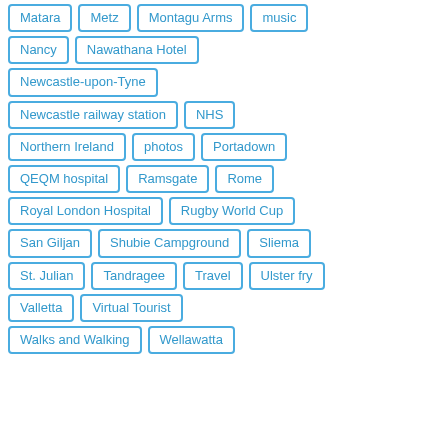Matara
Metz
Montagu Arms
music
Nancy
Nawathana Hotel
Newcastle-upon-Tyne
Newcastle railway station
NHS
Northern Ireland
photos
Portadown
QEQM hospital
Ramsgate
Rome
Royal London Hospital
Rugby World Cup
San Giljan
Shubie Campground
Sliema
St. Julian
Tandragee
Travel
Ulster fry
Valletta
Virtual Tourist
Walks and Walking
Wellawatta